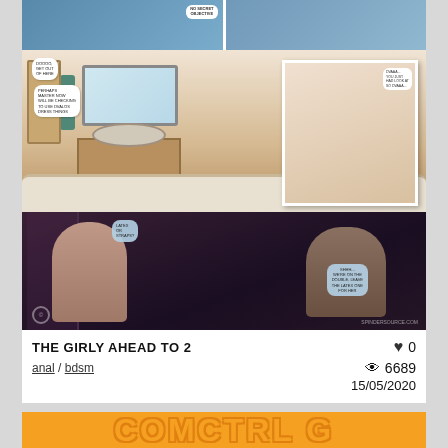[Figure (illustration): Comic/manga style artwork showing bathroom scene with characters and speech bubbles, plus a darker lower panel with two characters]
THE GIRLY AHEAD TO 2
anal / bdsm
♥ 0
👁 6689
15/05/2020
[Figure (logo): Orange text banner at bottom partially visible]